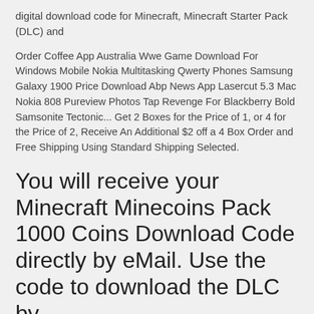digital download code for Minecraft, Minecraft Starter Pack (DLC) and
Order Coffee App Australia Wwe Game Download For Windows Mobile Nokia Multitasking Qwerty Phones Samsung Galaxy 1900 Price Download Abp News App Lasercut 5.3 Mac Nokia 808 Pureview Photos Tap Revenge For Blackberry Bold Samsonite Tectonic... Get 2 Boxes for the Price of 1, or 4 for the Price of 2, Receive An Additional $2 off a 4 Box Order and Free Shipping Using Standard Shipping Selected.
You will receive your Minecraft Minecoins Pack 1000 Coins Download Code directly by eMail. Use the code to download the DLC by